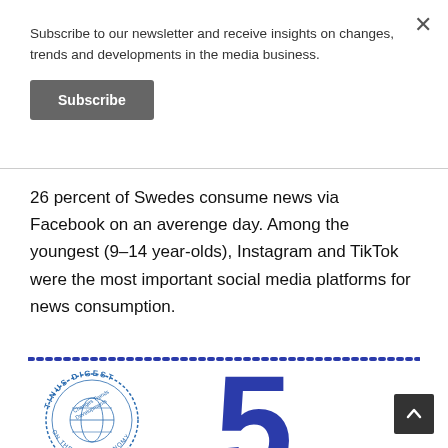Subscribe to our newsletter and receive insights on changes, trends and developments in the media business.
Subscribe
26 percent of Swedes consume news via Facebook on an averenge day. Among the youngest (9-14 year-olds), Instagram and TikTok were the most important social media platforms for news consumption.
[Figure (logo): Tinus Digest circular stamp logo with globe, text 'Changes Trends Developments' and 'ON THE MEDIA ECONOMY', with a handwritten signature below.]
5